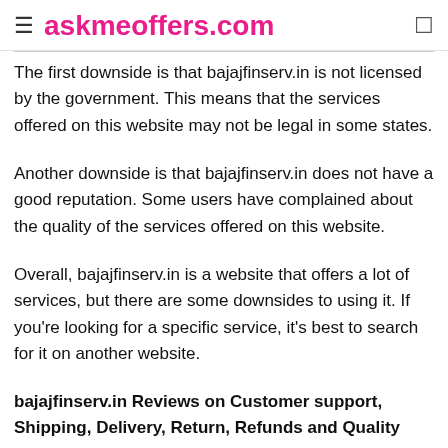askmeoffers.com
The first downside is that bajajfinserv.in is not licensed by the government. This means that the services offered on this website may not be legal in some states.
Another downside is that bajajfinserv.in does not have a good reputation. Some users have complained about the quality of the services offered on this website.
Overall, bajajfinserv.in is a website that offers a lot of services, but there are some downsides to using it. If you're looking for a specific service, it's best to search for it on another website.
bajajfinserv.in Reviews on Customer support, Shipping, Delivery, Return, Refunds and Quality
Bajaj Finserv, a leading online retailer of various electronics products, offers an excellent customer support that meets the expectations of customers. They have a great return policy in place